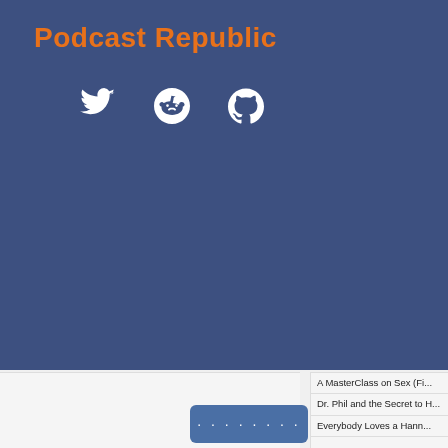Podcast Republic
[Figure (illustration): Social media icons: Twitter bird, Reddit alien, GitHub octocat — white icons on dark blue background]
A MasterClass on Sex (Fi...
Dr. Phil and the Secret to H...
Everybody Loves a Hann...